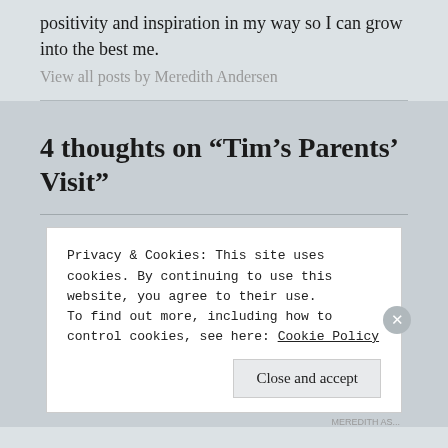positivity and inspiration in my way so I can grow into the best me.
View all posts by Meredith Andersen
4 thoughts on “Tim’s Parents’ Visit”
Privacy & Cookies: This site uses cookies. By continuing to use this website, you agree to their use.
To find out more, including how to control cookies, see here: Cookie Policy
Close and accept